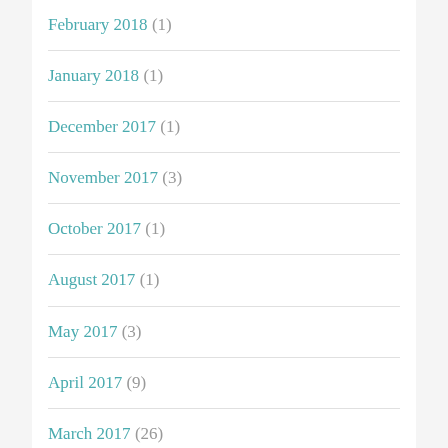February 2018 (1)
January 2018 (1)
December 2017 (1)
November 2017 (3)
October 2017 (1)
August 2017 (1)
May 2017 (3)
April 2017 (9)
March 2017 (26)